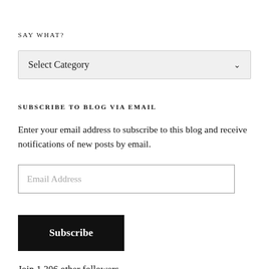SAY WHAT?
[Figure (screenshot): Dropdown selector widget showing 'Select Category' with a chevron arrow on the right, on a light grey background]
SUBSCRIBE TO BLOG VIA EMAIL
Enter your email address to subscribe to this blog and receive notifications of new posts by email.
[Figure (screenshot): Email address input field with placeholder text 'Email Address']
[Figure (screenshot): Black 'Subscribe' button]
Join 1,306 other followers